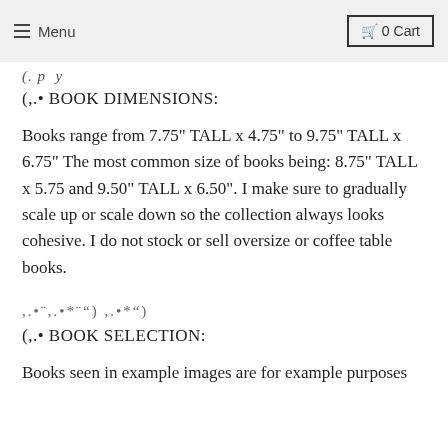Menu | 0 Cart
(,.•
(,.• BOOK DIMENSIONS:
Books range from 7.75" TALL x 4.75" to 9.75" TALL x 6.75" The most common size of books being: 8.75" TALL x 5.75 and 9.50" TALL x 6.50". I make sure to gradually scale up or scale down so the collection always looks cohesive. I do not stock or sell oversize or coffee table books.
,.•¨,.•*¨) ,.•*¨)
(,.• BOOK SELECTION:
Books seen in example images are for example purposes